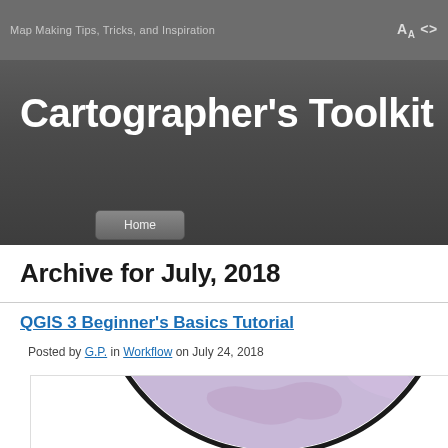Map Making Tips, Tricks, and Inspiration
Cartographer's Toolkit
Home
Archive for July, 2018
QGIS 3 Beginner's Basics Tutorial
Posted by G.P. in Workflow on July 24, 2018
[Figure (illustration): Globe illustration showing a purple/pink colored map of the world, partially visible at the bottom of the page, with a dark circular border.]